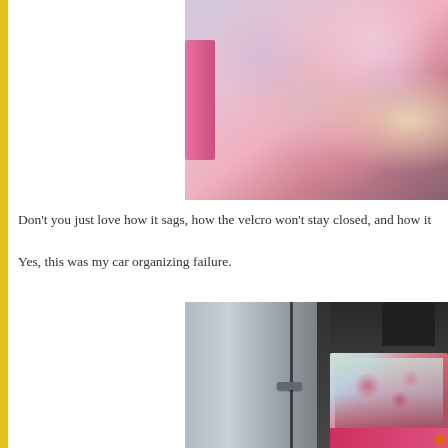[Figure (photo): Close-up photo of a pink-trimmed fabric car organizer with Cinderella print, showing velcro and sagging fabric]
Don't you just love how it sags, how the velcro won't stay closed, and how it
Yes, this was my car organizing failure.
[Figure (photo): Photo of a car door open showing a floral pink and blue fabric organizer hanging from the back of a front seat, sagging]